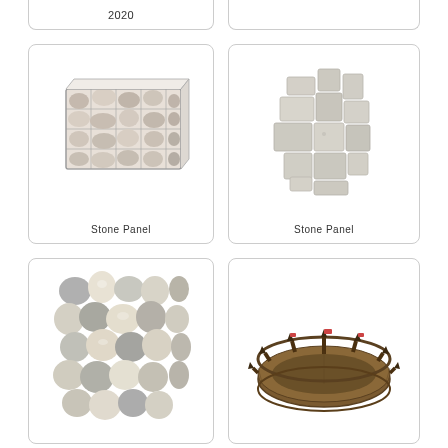2020
[Figure (illustration): 3D render of a stone panel / gabion wall filled with mixed stones and a wire mesh frame, viewed in perspective]
Stone Panel
[Figure (illustration): 3D render of a square stone panel with irregular stacked concrete-colored block pieces protruding at different depths]
Stone Panel
[Figure (illustration): 3D render of a square panel densely covered with rounded pebbles and cobblestones in grey and cream tones]
[Figure (illustration): 3D render of a circular medieval-style wooden fort or palisade wall with pointed spires and flags, viewed from above at an angle]